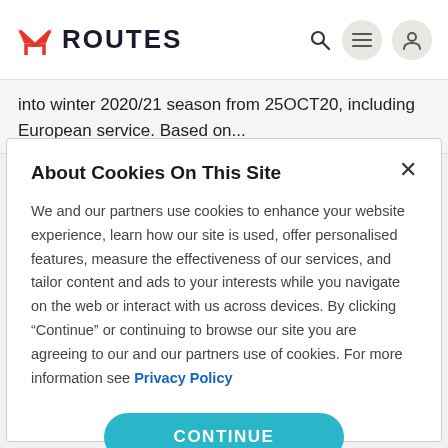ROUTES
into winter 2020/21 season from 25OCT20, including European service. Based on...
About Cookies On This Site
We and our partners use cookies to enhance your website experience, learn how our site is used, offer personalised features, measure the effectiveness of our services, and tailor content and ads to your interests while you navigate on the web or interact with us across devices. By clicking "Continue" or continuing to browse our site you are agreeing to our and our partners use of cookies. For more information see Privacy Policy
CONTINUE